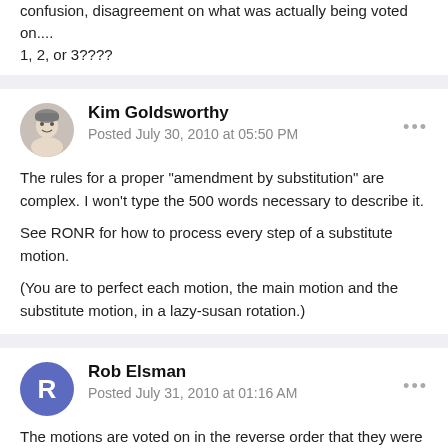confusion, disagreement on what was actually being voted on.... 1, 2, or 3????
Kim Goldsworthy
Posted July 30, 2010 at 05:50 PM
The rules for a proper "amendment by substitution" are complex. I won't type the 500 words necessary to describe it.

See RONR for how to process every step of a substitute motion.

(You are to perfect each motion, the main motion and the substitute motion, in a lazy-susan rotation.)
Rob Elsman
Posted July 31, 2010 at 01:16 AM
The motions are voted on in the reverse order that they were made.